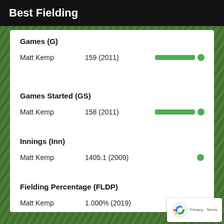Best Fielding
Games (G)
| Player | Value | Bar |
| --- | --- | --- |
| Matt Kemp | 159 (2011) | bar |
Games Started (GS)
| Player | Value | Bar |
| --- | --- | --- |
| Matt Kemp | 158 (2011) | bar |
Innings (Inn)
| Player | Value | Bar |
| --- | --- | --- |
| Matt Kemp | 1405.1 (2009) | dot |
Fielding Percentage (FLDP)
| Player | Value | Bar |
| --- | --- | --- |
| Matt Kemp | 1.000% (2019) | bar |